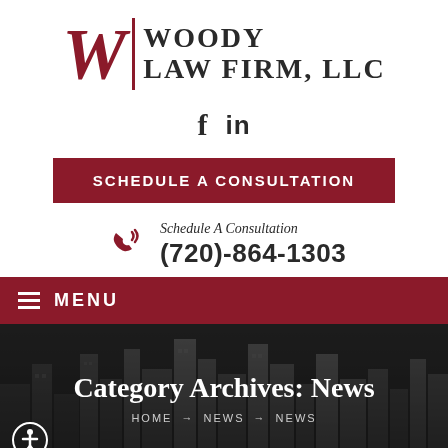[Figure (logo): Woody Law Firm LLC logo with a stylized W and vertical bar followed by firm name text]
[Figure (infographic): Facebook and LinkedIn social media icons]
SCHEDULE A CONSULTATION
Schedule A Consultation
(720)-864-1303
MENU
Category Archives: News
HOME → NEWS → NEWS